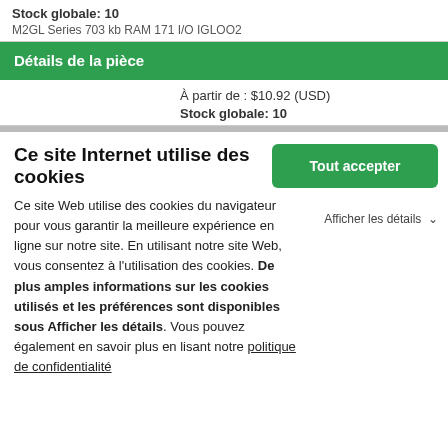Stock globale:  10
M2GL Series 703 kb RAM 171 I/O IGLOO2
Détails de la pièce
À partir de : $10.92 (USD)
Stock globale:  10
Ce site Internet utilise des cookies
Tout accepter
Afficher les détails
Ce site Web utilise des cookies du navigateur pour vous garantir la meilleure expérience en ligne sur notre site. En utilisant notre site Web, vous consentez à l'utilisation des cookies. De plus amples informations sur les cookies utilisés et les préférences sont disponibles sous Afficher les détails. Vous pouvez également en savoir plus en lisant notre politique de confidentialité